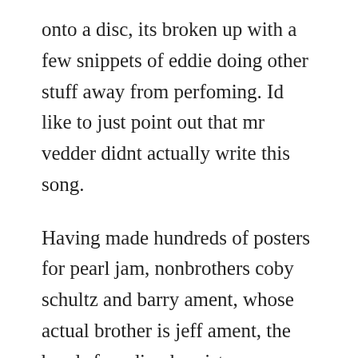onto a disc, its broken up with a few snippets of eddie doing other stuff away from perfoming. Id like to just point out that mr vedder didnt actually write this song.
Having made hundreds of posters for pearl jam, nonbrothers coby schultz and barry ament, whose actual brother is jeff ament, the bands founding bassist, are probably the biggest reason why pearl jam posters are so difficult to categorize. Can someone explain me the meaning of society by eddie. Eddie vedder announced today he will join the